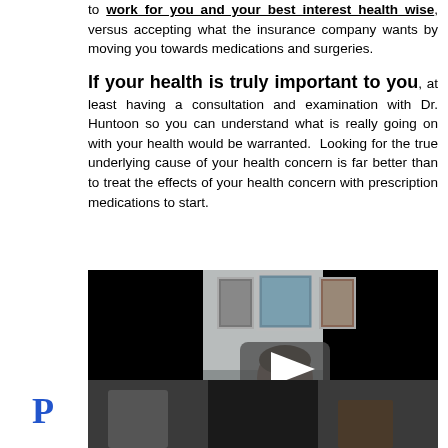to work for you and your best interest health wise, versus accepting what the insurance company wants by moving you towards medications and surgeries.
If your health is truly important to you, at least having a consultation and examination with Dr. Huntoon so you can understand what is really going on with your health would be warranted. Looking for the true underlying cause of your health concern is far better than to treat the effects of your health concern with prescription medications to start.
[Figure (screenshot): Embedded video screenshot showing a man in a dark shirt seated in front of a wall with framed artwork. A translucent play button overlay is visible in the center. Black letterbox bars on left and right sides.]